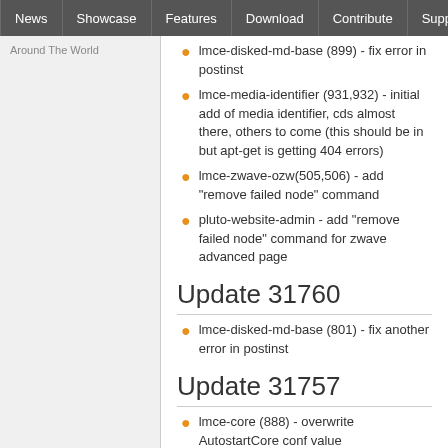News | Showcase | Features | Download | Contribute | Support
Around The World
lmce-disked-md-base (899) - fix error in postinst
lmce-media-identifier (931,932) - initial add of media identifier, cds almost there, others to come (this should be in but apt-get is getting 404 errors)
lmce-zwave-ozw(505,506) - add "remove failed node" command
pluto-website-admin - add "remove failed node" command for zwave advanced page
Update 31760
lmce-disked-md-base (801) - fix another error in postinst
Update 31757
lmce-core (888) - overwrite AutostartCore conf value